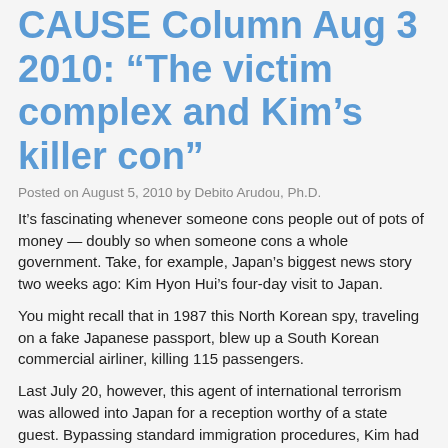CAUSE Column Aug 3 2010: “The victim complex and Kim’s killer con”
Posted on August 5, 2010 by Debito Arudou, Ph.D.
It’s fascinating whenever someone cons people out of pots of money — doubly so when someone cons a whole government. Take, for example, Japan’s biggest news story two weeks ago: Kim Hyon Hui’s four-day visit to Japan.
You might recall that in 1987 this North Korean spy, traveling on a fake Japanese passport, blew up a South Korean commercial airliner, killing 115 passengers.
Last July 20, however, this agent of international terrorism was allowed into Japan for a reception worthy of a state guest. Bypassing standard immigration procedures, Kim had her entry visa personally approved by our justice minister, boarded a chartered flight that cost Japan’s taxpayers ¥10 million, and was whisked by helicopter to former Prime Minister Yukio